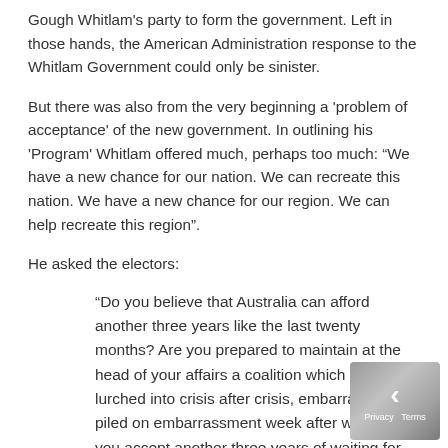Gough Whitlam's party to form the government. Left in those hands, the American Administration response to the Whitlam Government could only be sinister.
But there was also from the very beginning a 'problem of acceptance' of the new government. In outlining his 'Program' Whitlam offered much, perhaps too much: “We have a new chance for our nation. We can recreate this nation. We have a new chance for our region. We can help recreate this region”.
He asked the electors:
“Do you believe that Australia can afford another three years like the last twenty months? Are you prepared to maintain at the head of your affairs a coalition which has lurched into crisis after crisis, embarrassment piled on embarrassment week after week? Will you accept another three years of waiting for next week’s crisis, next week’s blunder? Will you again entrust the nation's economy to the men who deliberately, but needlessly, created Australia's worst unemployment for ten years? Or to the same men who have presided over the worst inflation for twenty years? Can you